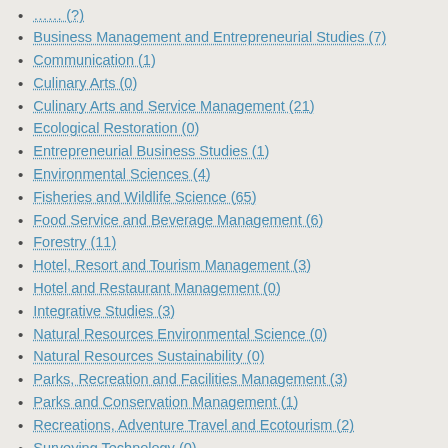... (?)
Business Management and Entrepreneurial Studies (7)
Communication (1)
Culinary Arts (0)
Culinary Arts and Service Management (21)
Ecological Restoration (0)
Entrepreneurial Business Studies (1)
Environmental Sciences (4)
Fisheries and Wildlife Science (65)
Food Service and Beverage Management (6)
Forestry (11)
Hotel, Resort and Tourism Management (3)
Hotel and Restaurant Management (0)
Integrative Studies (3)
Natural Resources Environmental Science (0)
Natural Resources Sustainability (0)
Parks, Recreation and Facilities Management (3)
Parks and Conservation Management (1)
Recreations, Adventure Travel and Ecotourism (2)
Surveying Technology (0)
Sustainable Communities & Working Landscapes (0)
(-) Environmental Studies (2)
(-) Natural Resources Conservation and Management (2)
(-) Natural Resources Management and Policy (7)
(-) Natural Resources Sustainability Studies (1)
(-) Recreation, Adventure Education and Leisure Management (2)